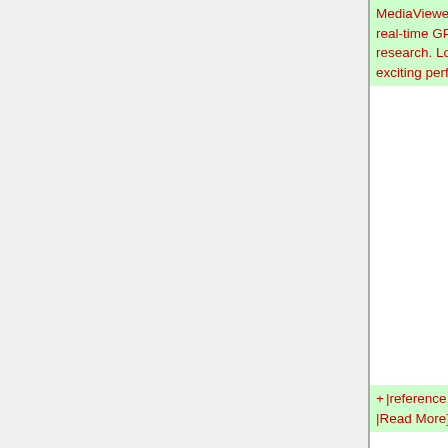MediaViewer and VideoBlaster as well as real-time GPU centric scientific visualization research. Look out for a collection of exciting performance presentations.
|reference = [[Research Projects: CGLX |Read More]]
}}
{{Template:NewsThumbnail |
{{Template:NewsThumbnail |
Line 62:
Line 327:
|reference = [http://www.calit2.net/newsroom/article.php?id=1416// Read More]
|reference = [http://www.calit2.net/newsroom/article.php?id=1416// Read More]
}}
}}